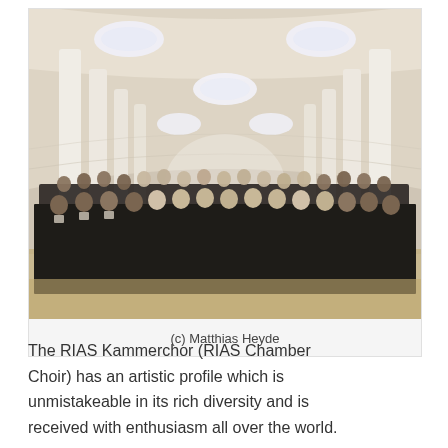[Figure (photo): Group photo of the RIAS Kammerchor (RIAS Chamber Choir) standing in a large white hall with arched ceiling and oval skylights. Approximately 40-50 singers dressed in formal black attire arranged in rows.]
(c) Matthias Heyde
The RIAS Kammerchor (RIAS Chamber Choir) has an artistic profile which is unmistakeable in its rich diversity and is received with enthusiasm all over the world.